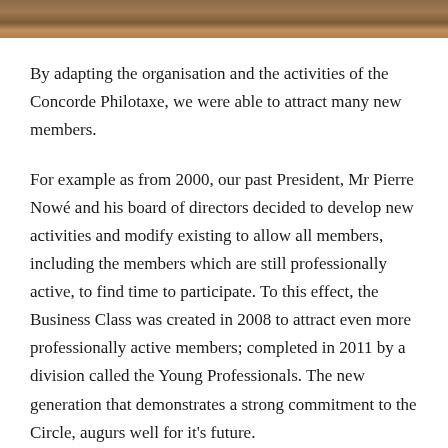[Figure (photo): Partial photo strip at top of page, appears to show an indoor or decorative scene in warm brown/amber tones.]
By adapting the organisation and the activities of the Concorde Philotaxe, we were able to attract many new members.
For example as from 2000, our past President, Mr Pierre Nowé and his board of directors decided to develop new activities and modify existing to allow all members, including the members which are still professionally active, to find time to participate. To this effect, the Business Class was created in 2008 to attract even more professionally active members; completed in 2011 by a division called the Young Professionals. The new generation that demonstrates a strong commitment to the Circle, augurs well for it's future.
With the support of its members, the Cercle Royal